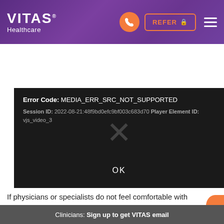VITAS Healthcare
[Figure (screenshot): Video player error screen showing: Error Code: MEDIA_ERR_SRC_NOT_SUPPORTED, Session ID: 2022-08-21:48f9bd0efc9bf003c683d70, Player Element ID: vjs_video_3, with an X mark and OK button]
Dr. Illeana Leyva and Dr. Eric Shaban, VITAS regional medical directors, give a step-by-step demonstration of how to approach a goals-of-care conversation.
If physicians or specialists do not feel comfortable with these difficult-but-rewarding conversations, trained VITAS
Clinicians: Sign up to get VITAS email